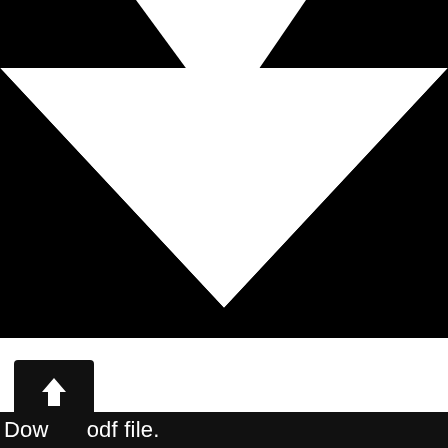[Figure (illustration): Large black envelope icon on black background with white envelope shape — a downward-pointing triangular flap (open envelope) visible, upper portion shows two black rectangles at top corners with white arrow/chevron pointing down in center.]
[Figure (illustration): Small black rounded-rectangle button with white upward-pointing arrow icon (upload/share symbol).]
Dow    odf file.